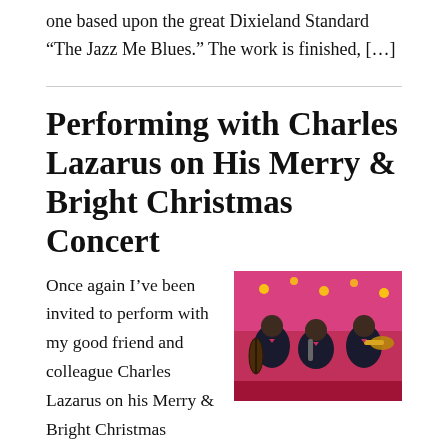one based upon the great Dixieland Standard “The Jazz Me Blues.” The work is finished, […]
Performing with Charles Lazarus on His Merry & Bright Christmas Concert
[Figure (illustration): Colorful illustration of jazz musicians performing, with a pink/red background, showing figures playing instruments including what appears to be a bass and trumpet, wearing formal attire.]
Once again I’ve been invited to perform with my good friend and colleague Charles Lazarus on his Merry & Bright Christmas Concert at Minnesota Orchestra Hall on Saturday, December 15. It’s a terrific concert with an all-star band, terrific vocal soloists and Charles’ sizzling trumpet solos. A great